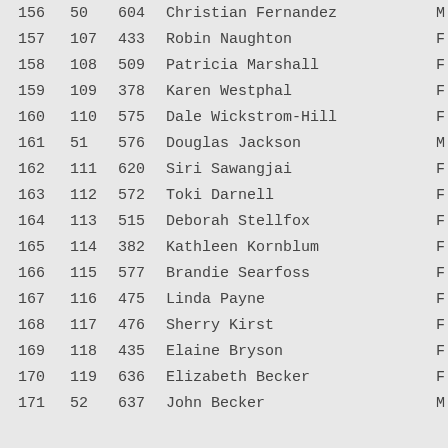| Place | Div | Bib | Name | Sex |
| --- | --- | --- | --- | --- |
| 156 | 50 | 604 | Christian Fernandez | M |
| 157 | 107 | 433 | Robin Naughton | F |
| 158 | 108 | 509 | Patricia Marshall | F |
| 159 | 109 | 378 | Karen Westphal | F |
| 160 | 110 | 575 | Dale Wickstrom-Hill | F |
| 161 | 51 | 576 | Douglas Jackson | M |
| 162 | 111 | 620 | Siri Sawangjai | F |
| 163 | 112 | 572 | Toki Darnell | F |
| 164 | 113 | 515 | Deborah Stellfox | F |
| 165 | 114 | 382 | Kathleen Kornblum | F |
| 166 | 115 | 577 | Brandie Searfoss | F |
| 167 | 116 | 475 | Linda Payne | F |
| 168 | 117 | 476 | Sherry Kirst | F |
| 169 | 118 | 435 | Elaine Bryson | F |
| 170 | 119 | 636 | Elizabeth Becker | F |
| 171 | 52 | 637 | John Becker | M |